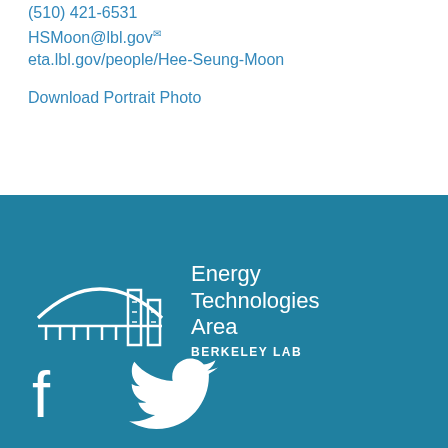(510) 421-6531
HSMoon@lbl.gov
eta.lbl.gov/people/Hee-Seung-Moon
Download Portrait Photo
[Figure (logo): Energy Technologies Area Berkeley Lab logo with white building/dome graphic on teal background]
[Figure (logo): White Facebook and Twitter social media icons on teal background]